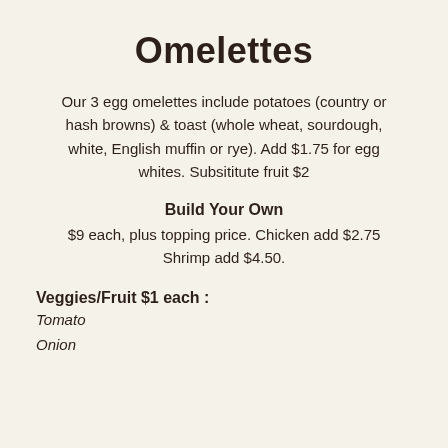Omelettes
Our 3 egg omelettes include potatoes (country or hash browns) & toast (whole wheat, sourdough, white, English muffin or rye). Add $1.75 for egg whites. Subsititute fruit $2
Build Your Own
$9 each, plus topping price. Chicken add $2.75 Shrimp add $4.50.
Veggies/Fruit
$1 each :
Tomato
Onion